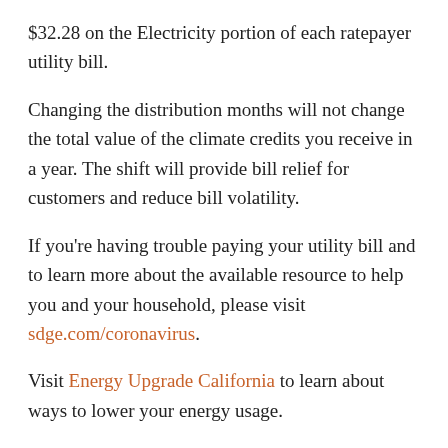$32.28 on the Electricity portion of each ratepayer utility bill.
Changing the distribution months will not change the total value of the climate credits you receive in a year. The shift will provide bill relief for customers and reduce bill volatility.
If you’re having trouble paying your utility bill and to learn more about the available resource to help you and your household, please visit sdge.com/coronavirus.
Visit Energy Upgrade California to learn about ways to lower your energy usage.
And if you want to save energy and earn money, check out my post about Ohm Connect.
What is the California Climate Credit?